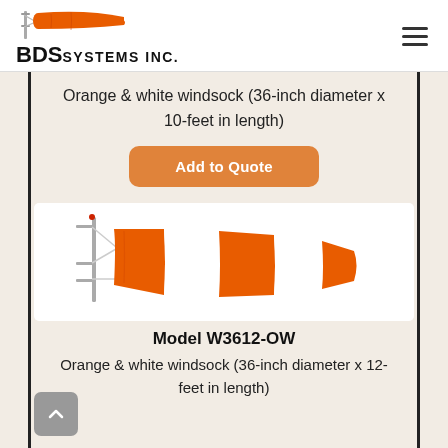[Figure (logo): BDS Systems Inc. logo with orange windsock image above the company name text]
Orange & white windsock (36-inch diameter x 10-feet in length)
Add to Quote
[Figure (photo): Orange and white striped windsock mounted on metal frame bracket, lying horizontally]
Model W3612-OW
Orange & white windsock (36-inch diameter x 12-feet in length)